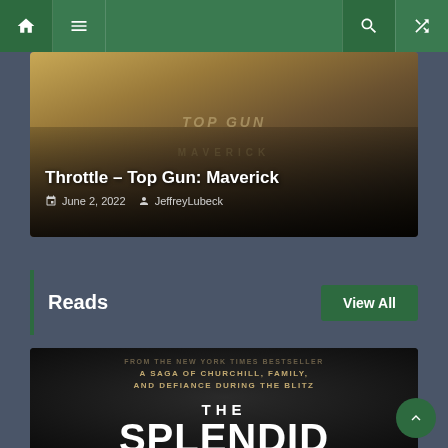Navigation bar with home, menu, search, and shuffle icons
[Figure (screenshot): Top Gun: Maverick article card with dark golden movie poster background, partial title 'Throttle – Top Gun: Maverick', date June 2, 2022, author JeffreyLubeck]
Throttle – Top Gun: Maverick
June 2, 2022   JeffreyLubeck
Reads
View All
[Figure (photo): Book cover for 'The Splendid and the Vile' - black background with text: 'A Saga of Churchill, Family, and Defiance During the Blitz' subtitle, and large title text 'THE SPLENDID AND THE']